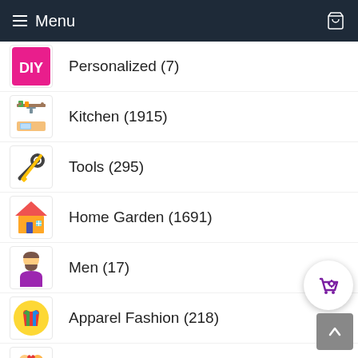Menu
Personalized (7)
Kitchen (1915)
Tools (295)
Home Garden (1691)
Men (17)
Apparel Fashion (218)
Anniversary (85)
Birthday (3)